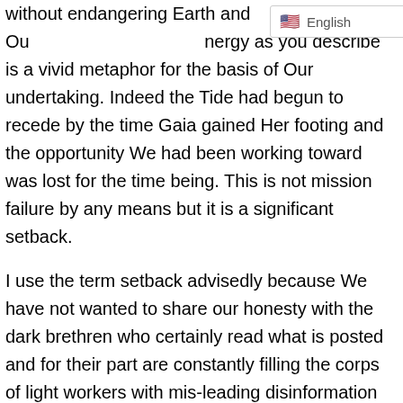without endangering Earth and Our [English dropdown] nergy as you describe is a vivid metaphor for the basis of Our undertaking. Indeed the Tide had begun to recede by the time Gaia gained Her footing and the opportunity We had been working toward was lost for the time being. This is not mission failure by any means but it is a significant setback.
I use the term setback advisedly because We have not wanted to share our honesty with the dark brethren who certainly read what is posted and for their part are constantly filling the corps of light workers with mis-leading disinformation through a variety of new age confusion, traditional religious bigotry, and bogus political and environmental “news” to attempt to put Our ground forces in disarray. However, Our strategy of guarded